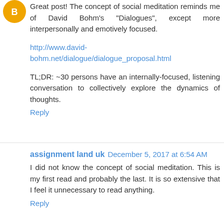Great post! The concept of social meditation reminds me of David Bohm's "Dialogues", except more interpersonally and emotively focused.
http://www.david-bohm.net/dialogue/dialogue_proposal.html
TL;DR: ~30 persons have an internally-focused, listening conversation to collectively explore the dynamics of thoughts.
Reply
assignment land uk  December 5, 2017 at 6:54 AM
I did not know the concept of social meditation. This is my first read and probably the last. It is so extensive that I feel it unnecessary to read anything.
Reply